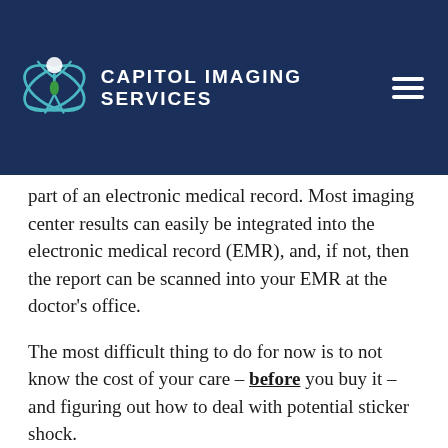CAPITOL IMAGING SERVICES
part of an electronic medical record. Most imaging center results can easily be integrated into the electronic medical record (EMR), and, if not, then the report can be scanned into your EMR at the doctor's office.
The most difficult thing to do for now is to not know the cost of your care – before you buy it – and figuring out how to deal with potential sticker shock.
Click below to learn how one woman was shocked to find out the difference in cost for an MRI when comparing a hospital to an independent imaging center.
Capitol Imaging Services is dedicated to educating...